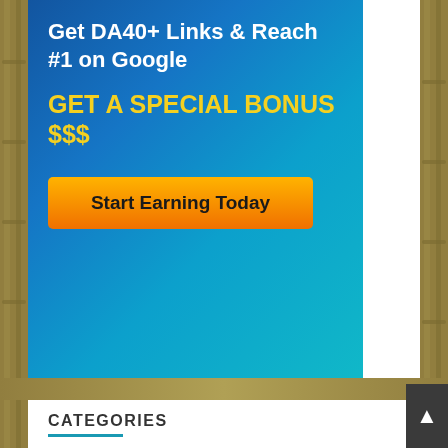[Figure (illustration): Advertisement banner with blue gradient background showing text 'Get DA40+ Links & Reach #1 on Google', 'GET A SPECIAL BONUS $$$', and an orange 'Start Earning Today' button]
CATEGORIES
Condo in vietnam
Donnybrook for sale
Followers
Hanoi real estate
Hanoi real estate agency